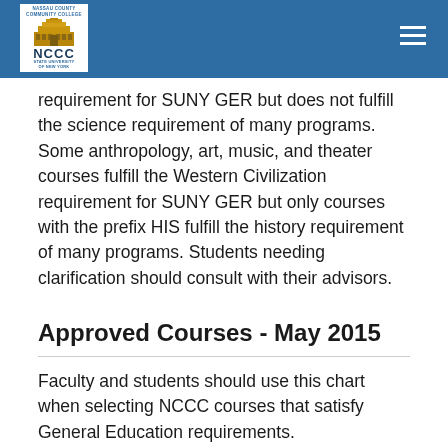NCCC - Nassau County Community College
requirement for SUNY GER but does not fulfill the science requirement of many programs. Some anthropology, art, music, and theater courses fulfill the Western Civilization requirement for SUNY GER but only courses with the prefix HIS fulfill the history requirement of many programs. Students needing clarification should consult with their advisors.
Approved Courses - May 2015
Faculty and students should use this chart when selecting NCCC courses that satisfy General Education requirements.